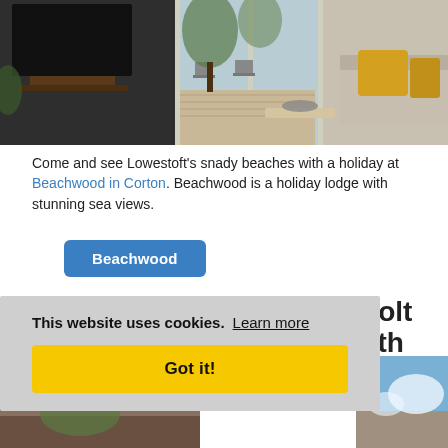[Figure (photo): Interior of a holiday lodge showing a TV on a stand, large glass patio doors opening onto a deck with outdoor furniture, and a couch with yellow cushions.]
Come and see Lowestoft's snady beaches with a holiday at Beachwood in Corton. Beachwood is a holiday lodge with stunning sea views.
Beachwood
Wishing Well Cottage in Holt
outh
[Figure (photo): Partial view of a photo showing blue sky with clouds and what appears to be a thatched or stone cottage below.]
This website uses cookies.  Learn more
Got it!